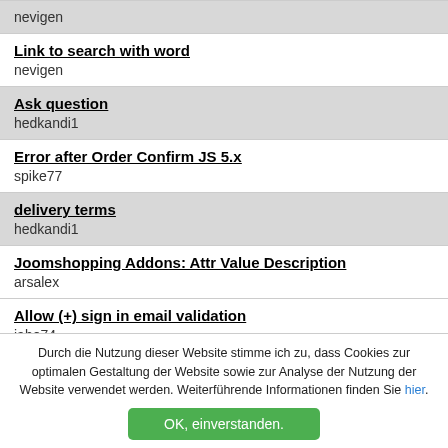nevigen
Link to search with word
nevigen
Ask question
hedkandi1
Error after Order Confirm JS 5.x
spike77
delivery terms
hedkandi1
Joomshopping Addons: Attr Value Description
arsalex
Allow (+) sign in email validation
jabo74
Durch die Nutzung dieser Website stimme ich zu, dass Cookies zur optimalen Gestaltung der Website sowie zur Analyse der Nutzung der Website verwendet werden. Weiterführende Informationen finden Sie hier.
OK, einverstanden.